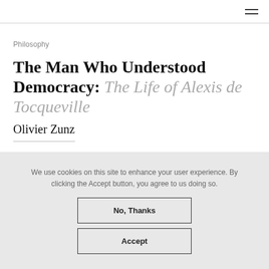≡
Philosophy
The Man Who Understood Democracy: The Life of Alexis de Tocqueville
Olivier Zunz
We use cookies on this site to enhance your user experience. By clicking the Accept button, you agree to us doing so.
No, Thanks
Accept